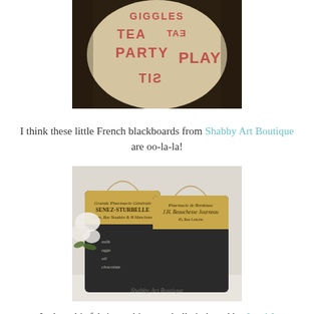[Figure (photo): Circular wooden tray or table top with red stenciled text reading GIGGLES, TEA, EAT, PARTY, PLAY, SIT and other words, some reversed, in a playful arrangement.]
I think these little French blackboards from Shabby Art Boutique are oo-la-la!
[Figure (photo): Two small French-style chalkboards with decorative vintage label on top and black chalkboard surface below, with handwritten grocery list items. White roses visible in background on left.]
I adore this fabric on this great bulletin board by J and J